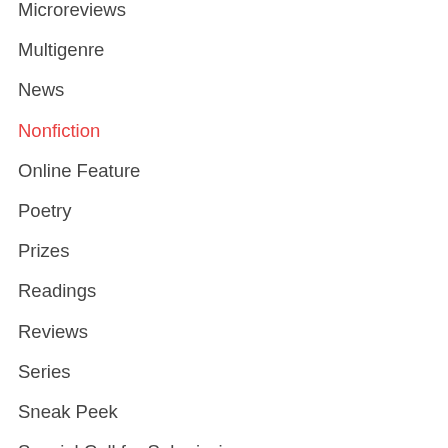Microreviews
Multigenre
News
Nonfiction
Online Feature
Poetry
Prizes
Readings
Reviews
Series
Sneak Peek
Special Call for Submissions
Spotlight
Submissions